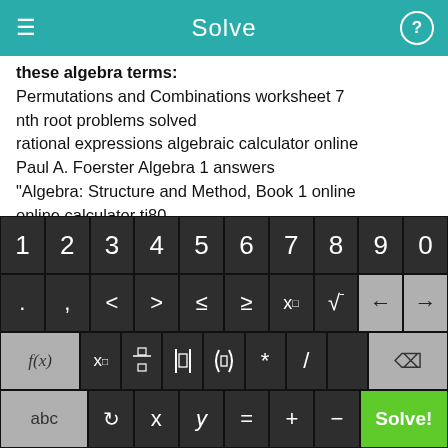Solve
these algebra terms:
Permutations and Combinations worksheet 7
nth root problems solved
rational expressions algebraic calculator online
Paul A. Foerster Algebra 1 answers
"Algebra: Structure and Method, Book 1 online
online calculator ti80
prentice hall mathmatics florida workbook answers
"free download""an introduction to mathematical statistics"
[Figure (screenshot): Mobile calculator keyboard with digit keys 1-9,0; operator keys including ., comma, <, >, ≤, ≥, x^□, √, back/forward arrows; function keys f(x), x□, fraction, absolute value, parentheses, *, /, delete; bottom row abc, rotate, x, y, =, +, -, and green Solve! button]